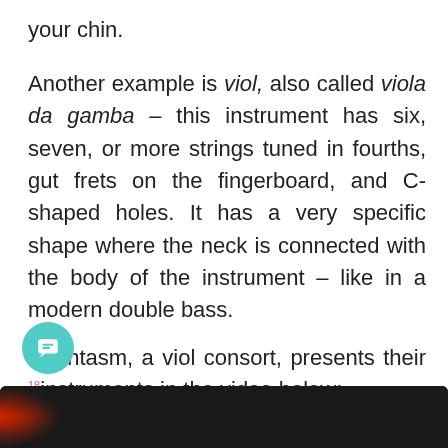your chin.
Another example is viol, also called viola da gamba – this instrument has six, seven, or more strings tuned in fourths, gut frets on the fingerboard, and C-shaped holes. It has a very specific shape where the neck is connected with the body of the instrument – like in a modern double bass.
Phantasm, a viol consort, presents their instruments in the video below:
18
[Figure (screenshot): Video thumbnail — dark background with red accent on left side]